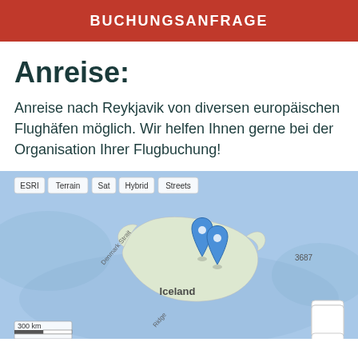BUCHUNGSANFRAGE
Anreise:
Anreise nach Reykjavik von diversen europäischen Flughäfen möglich. Wir helfen Ihnen gerne bei der Organisation Ihrer Flugbuchung!
[Figure (map): Interactive map showing Iceland with two blue location pin markers near Reykjavik. Map layers: ESRI, Terrain, Sat, Hybrid, Streets. Shows Denmark Strait label, Iceland label, depth marker 3687. Scale bar showing 300 km. Zoom controls (+/-) in bottom right.]